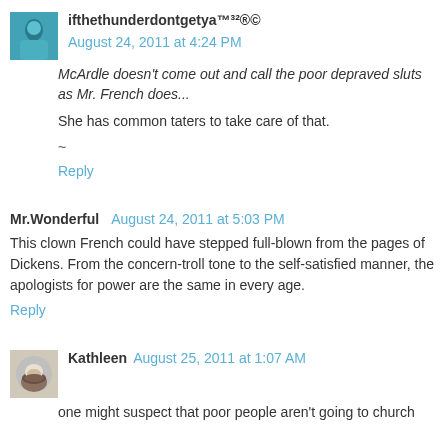[Figure (photo): Small avatar image with blue tones showing a figure]
ifthethunderdontgetya™³²®© August 24, 2011 at 4:24 PM
McArdle doesn't come out and call the poor depraved sluts as Mr. French does...
She has common taters to take care of that.
~
Reply
Mr.Wonderful August 24, 2011 at 5:03 PM
This clown French could have stepped full-blown from the pages of Dickens. From the concern-troll tone to the self-satisfied manner, the apologists for power are the same in every age.
Reply
[Figure (photo): Small avatar photo showing a coffee cup]
Kathleen August 25, 2011 at 1:07 AM
one might suspect that poor people aren't going to church